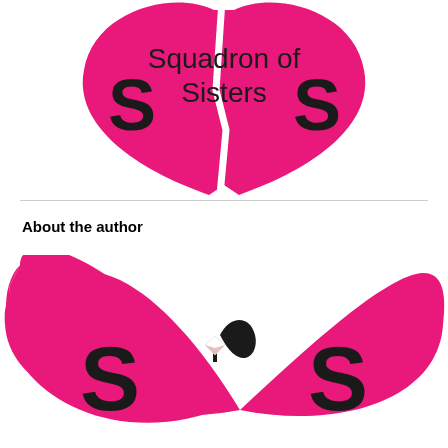[Figure (logo): Squadron of Sisters logo: two pink heart halves split apart with text 'Squadron of Sisters' in the center]
About the author
[Figure (logo): Squadron of Sisters logo: two interlocking pink hearts forming 'S&S' letters with a diamond ring in the center]